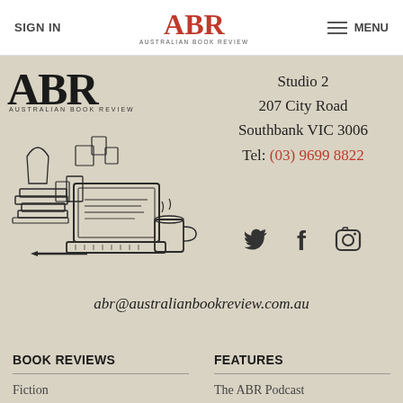SIGN IN | ABR Australian Book Review | MENU
[Figure (logo): ABR Australian Book Review large logo with stylized text]
[Figure (illustration): Line drawing illustration of a laptop computer surrounded by stacked books and a mug]
Studio 2
207 City Road
Southbank VIC 3006
Tel: (03) 9699 8822
[Figure (infographic): Social media icons: Twitter bird, Facebook f, Instagram camera]
abr@australianbookreview.com.au
BOOK REVIEWS
Fiction
Non-fiction
Biography & Memoirs
FEATURES
The ABR Podcast
Book Talk
Book of the Week